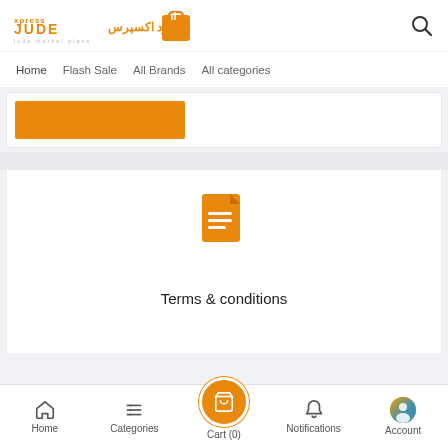[Figure (logo): Jude Xpress marketplace logo with Arabic text and shopping bag icon]
Home  Flash Sale  All Brands  All categories
[Figure (other): Orange rectangular block element]
[Figure (illustration): Orange document/file icon with lines]
Terms & conditions
Home  Categories  Cart (0)  Notifications  Account